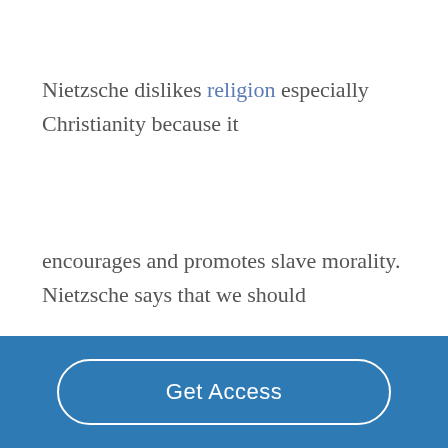Nietzsche dislikes religion especially Christianity because it encourages and promotes slave morality. Nietzsche says that we should
Get Access